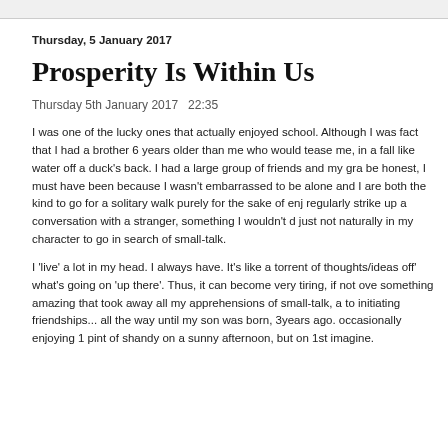Thursday, 5 January 2017
Prosperity Is Within Us
Thursday 5th January 2017   22:35
I was one of the lucky ones that actually enjoyed school. Although I was fact that I had a brother 6 years older than me who would tease me, in a fall like water off a duck's back. I had a large group of friends and my gra be honest, I must have been because I wasn't embarrassed to be alone and I are both the kind to go for a solitary walk purely for the sake of enj regularly strike up a conversation with a stranger, something I wouldn't d just not naturally in my character to go in search of small-talk.
I 'live' a lot in my head. I always have. It's like a torrent of thoughts/ideas off' what's going on 'up there'. Thus, it can become very tiring, if not ove something amazing that took away all my apprehensions of small-talk, a to initiating friendships... all the way until my son was born, 3years ago. occasionally enjoying 1 pint of shandy on a sunny afternoon, but on 1st imagine.